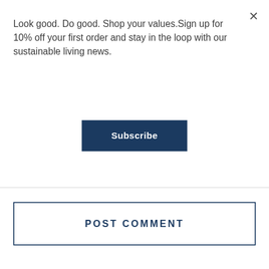×
Look good. Do good. Shop your values.Sign up for 10% off your first order and stay in the loop with our sustainable living news.
Subscribe
POST COMMENT
What are you looking for?